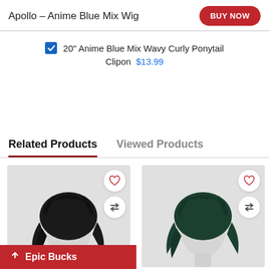Apollo - Anime Blue Mix Wig
20" Anime Blue Mix Wavy Curly Ponytail Clipon  $13.99
Related Products
Viewed Products
[Figure (photo): Short black wavy/layered cosplay wig on a white mannequin head, with a heart wishlist icon and a compare icon.]
[Figure (photo): Short dark green layered cosplay wig on a white mannequin head, with a heart wishlist icon and a compare icon.]
Epic Bucks